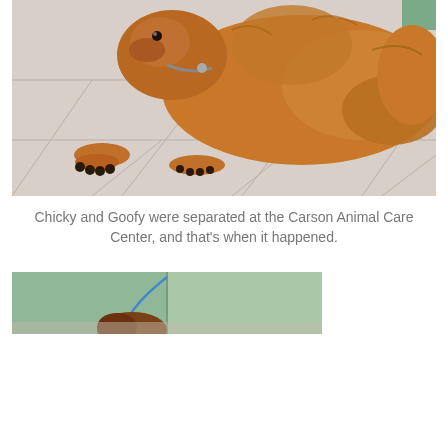[Figure (photo): A golden/orange fluffy dog lying on a white tiled floor, viewed from above and front. The dog is wearing a collar and has its paws stretched forward.]
Chicky and Goofy were separated at the Carson Animal Care Center, and that's when it happened.
[Figure (photo): Partial view of a dog in what appears to be a shelter or care center with green walls, with a blue leash visible.]